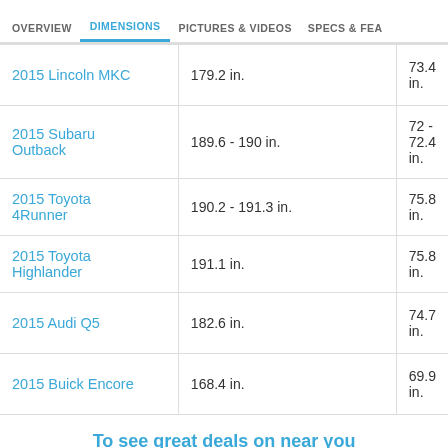OVERVIEW | DIMENSIONS | PICTURES & VIDEOS | SPECS & FEA
| Model | Length | Width |
| --- | --- | --- |
| 2015 Lincoln MKC | 179.2 in. | 73.4 in. |
| 2015 Subaru Outback | 189.6 - 190 in. | 72 - 72.4 in. |
| 2015 Toyota 4Runner | 190.2 - 191.3 in. | 75.8 in. |
| 2015 Toyota Highlander | 191.1 in. | 75.8 in. |
| 2015 Audi Q5 | 182.6 in. | 74.7 in. |
| 2015 Buick Encore | 168.4 in. | 69.9 in. |
To see great deals on near you
Enter your zip | Submit